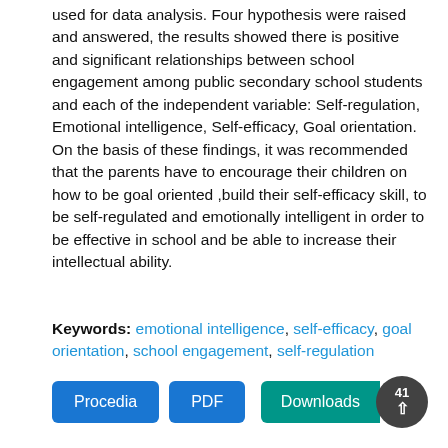used for data analysis. Four hypothesis were raised and answered, the results showed there is positive and significant relationships between school engagement among public secondary school students and each of the independent variable: Self-regulation, Emotional intelligence, Self-efficacy, Goal orientation. On the basis of these findings, it was recommended that the parents have to encourage their children on how to be goal oriented ,build their self-efficacy skill, to be self-regulated and emotionally intelligent in order to be effective in school and be able to increase their intellectual ability.
Keywords: emotional intelligence, self-efficacy, goal orientation, school engagement, self-regulation
[Figure (other): Buttons row: Procedia (blue button), PDF (blue button), Downloads 41 with upward arrow (teal button with dark circle)]